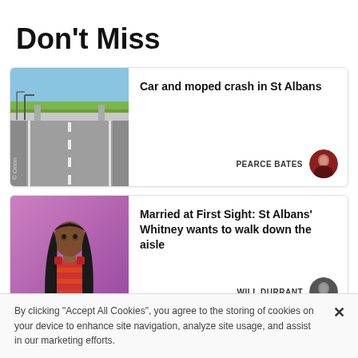Don't Miss
[Figure (photo): Street-level view of a highway with an overpass bridge, road markings visible, blue sky and green trees in background]
Car and moped crash in St Albans
PEARCE BATES
[Figure (photo): Woman in red/pink striped outfit against purple/pink background]
Married at First Sight: St Albans' Whitney wants to walk down the aisle
WILL DURRANT
By clicking "Accept All Cookies", you agree to the storing of cookies on your device to enhance site navigation, analyze site usage, and assist in our marketing efforts.